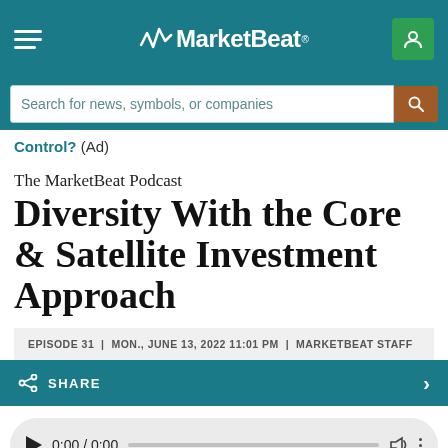MarketBeat (navigation header with logo, hamburger menu, and user icon)
Search for news, symbols, or companies
Control? (Ad)
The MarketBeat Podcast
Diversity With the Core & Satellite Investment Approach
EPISODE 31  |  MON., JUNE 13, 2022 11:01 PM  |  MARKETBEAT STAFF
SHARE
0:00 / 0:00
[Figure (screenshot): Bottom teaser image strip for Episode 31 with teal/dark background]